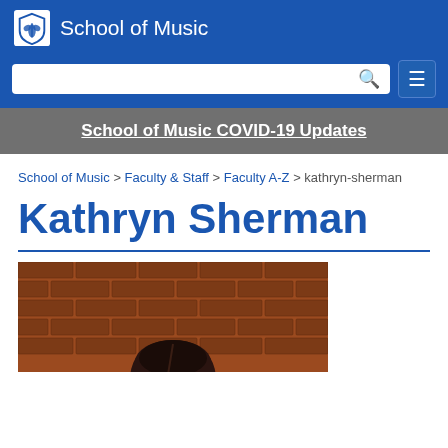School of Music
School of Music COVID-19 Updates
School of Music > Faculty & Staff > Faculty A-Z > kathryn-sherman
Kathryn Sherman
[Figure (photo): Headshot photo of Kathryn Sherman, a woman with dark hair against a brick wall background]